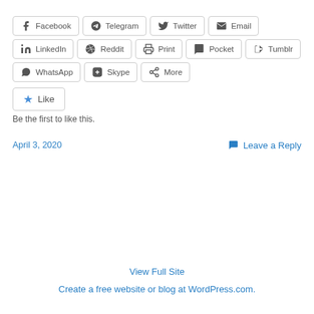Facebook  Telegram  Twitter  Email
LinkedIn  Reddit  Print  Pocket  Tumblr
WhatsApp  Skype  More
Like
Be the first to like this.
April 3, 2020
Leave a Reply
View Full Site
Create a free website or blog at WordPress.com.